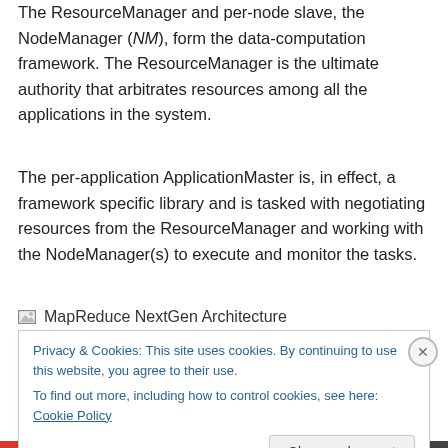The ResourceManager and per-node slave, the NodeManager (NM), form the data-computation framework. The ResourceManager is the ultimate authority that arbitrates resources among all the applications in the system.
The per-application ApplicationMaster is, in effect, a framework specific library and is tasked with negotiating resources from the ResourceManager and working with the NodeManager(s) to execute and monitor the tasks.
[Figure (illustration): Broken image placeholder icon followed by text 'MapReduce NextGen Architecture']
Privacy & Cookies: This site uses cookies. By continuing to use this website, you agree to their use.
To find out more, including how to control cookies, see here: Cookie Policy